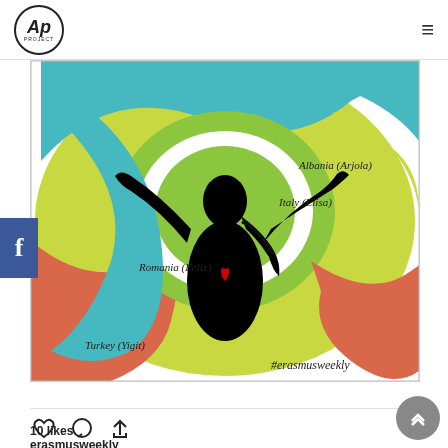AP Project logo and navigation
[Figure (illustration): Colorful swirling background illustration with a black silhouette of a person with arms raised, a red heart on the chest, and country labels: Albania (Arjola), Italy (Elisa), Romania (Felix), Turkey (Yigit), and #erasmusweekly hashtag]
View more on Instagram
10 likes
erasmusweekly